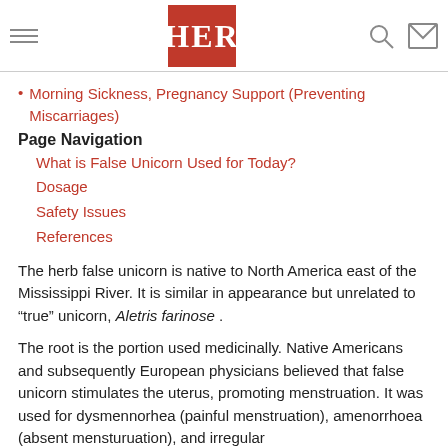HER
Morning Sickness, Pregnancy Support (Preventing Miscarriages)
Page Navigation
What is False Unicorn Used for Today?
Dosage
Safety Issues
References
The herb false unicorn is native to North America east of the Mississippi River. It is similar in appearance but unrelated to “true” unicorn, Aletris farinose .
The root is the portion used medicinally. Native Americans and subsequently European physicians believed that false unicorn stimulates the uterus, promoting menstruation. It was used for dysmennorhea (painful menstruation), amenorrhoea (absent mensturuation), and irregular